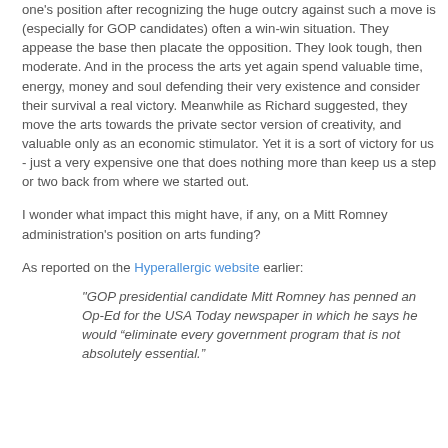one's position after recognizing the huge outcry against such a move is (especially for GOP candidates) often a win-win situation.  They appease the base then placate the opposition.  They look tough, then moderate.  And in the process the arts yet again spend valuable time, energy, money and soul defending their very existence and consider their survival a real victory.  Meanwhile as Richard suggested, they move the arts towards the private sector version of creativity, and valuable only as an economic stimulator. Yet it is a sort of victory for us - just a very expensive one that does nothing more than keep us a step or two back from where we started out.
I wonder what impact this might have, if any, on a Mitt Romney administration's position on arts funding?
As reported on the Hyperallergic website earlier:
"GOP presidential candidate Mitt Romney has penned an Op-Ed for the USA Today newspaper in which he says he would “eliminate every government program that is not absolutely essential."